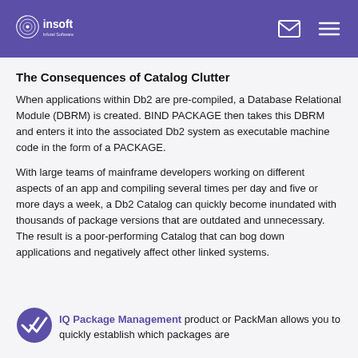insoft - Infotel Software
The Consequences of Catalog Clutter
When applications within Db2 are pre-compiled, a Database Relational Module (DBRM) is created. BIND PACKAGE then takes this DBRM and enters it into the associated Db2 system as executable machine code in the form of a PACKAGE.
With large teams of mainframe developers working on different aspects of an app and compiling several times per day and five or more days a week, a Db2 Catalog can quickly become inundated with thousands of package versions that are outdated and unnecessary. The result is a poor-performing Catalog that can bog down applications and negatively affect other linked systems.
IQ Package Management product or PackMan allows you to quickly establish which packages are...